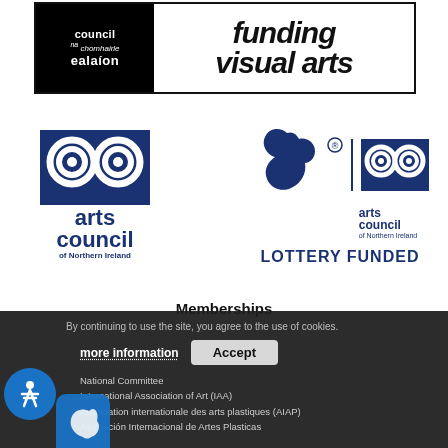[Figure (logo): Arts Council / An Chomhairle Ealaíon logo with text 'funding visual arts' — black and white banner logo at top of page]
[Figure (logo): Arts Council of Northern Ireland logo (two spirals) on left, National Lottery funded logo (hand/dove) in center, Arts Council of Northern Ireland logo on right, with text 'LOTTERY FUNDED']
Memberships
National Committee
International Association of Art (IAA)
Association internationale des arts plastiques (AIAP)
Asociación Internacional de Artes Plasticas
[Figure (logo): Partial blue leaf/sprout logo visible at bottom left]
By continuing to use the site, you agree to the use of cookies.
more information   Accept